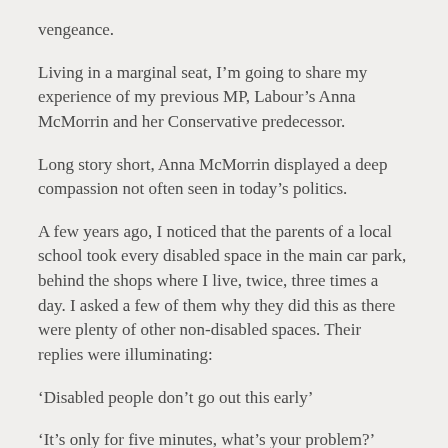vengeance.
Living in a marginal seat, I'm going to share my experience of my previous MP, Labour's Anna McMorrin and her Conservative predecessor.
Long story short, Anna McMorrin displayed a deep compassion not often seen in today's politics.
A few years ago, I noticed that the parents of a local school took every disabled space in the main car park, behind the shops where I live, twice, three times a day. I asked a few of them why they did this as there were plenty of other non-disabled spaces. Their replies were illuminating:
‘Disabled people don’t go out this early’
‘It’s only for five minutes, what’s your problem?’